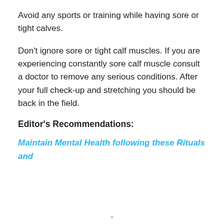Avoid any sports or training while having sore or tight calves.
Don't ignore sore or tight calf muscles. If you are experiencing constantly sore calf muscle consult a doctor to remove any serious conditions. After your full check-up and stretching you should be back in the field.
Editor's Recommendations:
Maintain Mental Health following these Rituals and